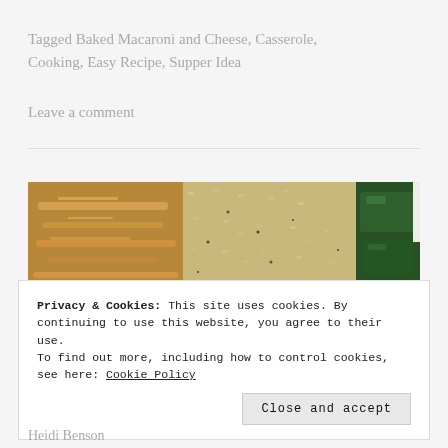Tagged Baked Macaroni and Cheese, Casserole, Cooking, Easy Recipe, Supper Idea
Leave a comment
[Figure (photo): A close-up photo of a meal with golden-brown baked chicken or fish on the left, brown rice or grain in the center, and dark green sautéed vegetables on the right side, all on a white plate.]
Privacy & Cookies: This site uses cookies. By continuing to use this website, you agree to their use.
To find out more, including how to control cookies, see here: Cookie Policy
Close and accept
Heidi Benson